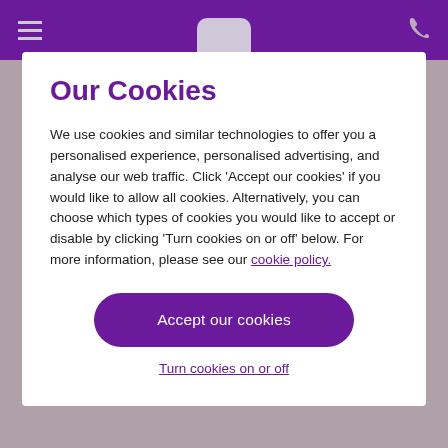Navigation header with hamburger menu, center logo, and phone icon on purple background
Our Cookies
We use cookies and similar technologies to offer you a personalised experience, personalised advertising, and analyse our web traffic. Click 'Accept our cookies' if you would like to allow all cookies. Alternatively, you can choose which types of cookies you would like to accept or disable by clicking 'Turn cookies on or off' below. For more information, please see our cookie policy.
Accept our cookies
Turn cookies on or off